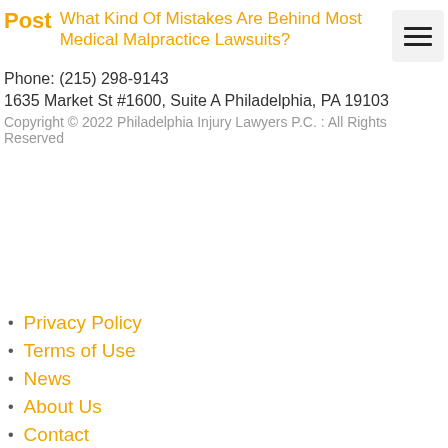Post  What Kind Of Mistakes Are Behind Most Medical Malpractice Lawsuits?
Phone: (215) 298-9143
1635 Market St #1600, Suite A Philadelphia, PA 19103
Copyright © 2022 Philadelphia Injury Lawyers P.C. : All Rights Reserved
Privacy Policy
Terms of Use
News
About Us
Contact